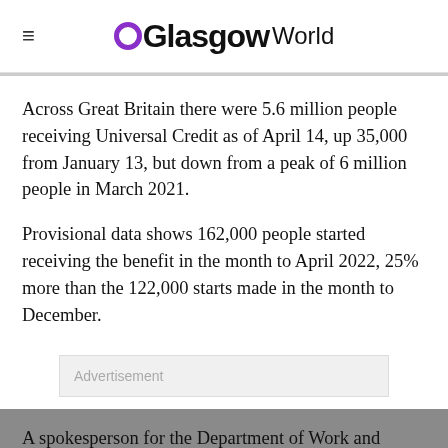Glasgow World
Across Great Britain there were 5.6 million people receiving Universal Credit as of April 14, up 35,000 from January 13, but down from a peak of 6 million people in March 2021.
Provisional data shows 162,000 people started receiving the benefit in the month to April 2022, 25% more than the 122,000 starts made in the month to December.
Advertisement
A spokesperson for the Department of Work and Pensions said: “Universal Credit provides